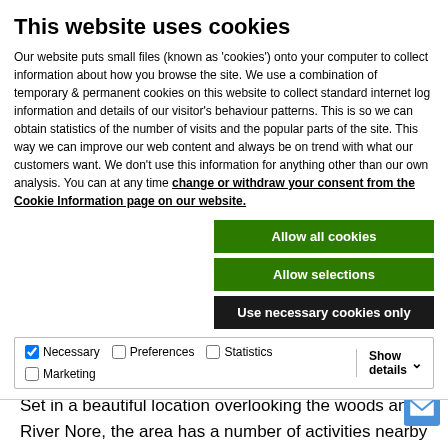This website uses cookies
Our website puts small files (known as 'cookies') onto your computer to collect information about how you browse the site. We use a combination of temporary & permanent cookies on this website to collect standard internet log information and details of our visitor's behaviour patterns. This is so we can obtain statistics of the number of visits and the popular parts of the site. This way we can improve our web content and always be on trend with what our customers want. We don't use this information for anything other than our own analysis. You can at any time change or withdraw your consent from the Cookie Information page on our website.
[Figure (screenshot): Three buttons: 'Allow all cookies' (green), 'Allow selections' (green), 'Use necessary cookies only' (dark/black)]
[Figure (screenshot): Checkbox row with checkboxes for Necessary (checked), Preferences, Statistics, Marketing and a Show details dropdown]
equipped kitchen and dining area, toilet and shower facilities (including wheelchair accessible shower and toilet), covered BBQ area and campfire area.
Set in a beautiful location overlooking the woods and River Nore, the area has a number of activities nearby